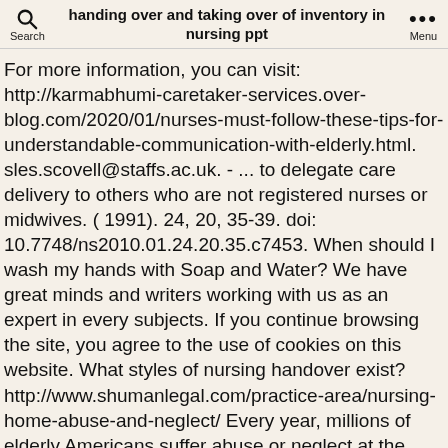handing over and taking over of inventory in nursing ppt
For more information, you can visit: http://karmabhumi-caretaker-services.over-blog.com/2020/01/nurses-must-follow-these-tips-for-understandable-communication-with-elderly.html. sles.scovell@staffs.ac.uk. - ... to delegate care delivery to others who are not registered nurses or midwives. ( 1991). 24, 20, 35-39. doi: 10.7748/ns2010.01.24.20.35.c7453. When should I wash my hands with Soap and Water? We have great minds and writers working with us as an expert in every subjects. If you continue browsing the site, you agree to the use of cookies on this website. What styles of nursing handover exist? http://www.shumanlegal.com/practice-area/nursing-home-abuse-and-neglect/ Every year, millions of elderly Americans suffer abuse or neglect at the hands of caregivers. Nurses must have excellent Body Language. Metrics of hand hygiene (HH) compliance based on WHO/CDC HH recommendations determined by blinded reviews were compared before and after implementation of [Article as Social Capital...]